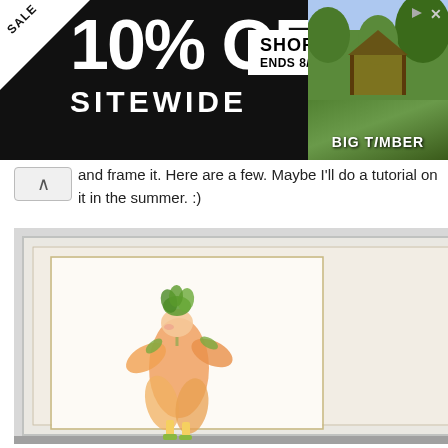[Figure (screenshot): Black advertisement banner: '10% OFF SITEWIDE' sale with 'SHOP NOW ENDS 8/31' button and Big Timber brand with outdoor gazebo image on the right]
and frame it. Here are a few. Maybe I'll do a tutorial on it in the summer. :)
[Figure (photo): A framed watercolor painting of a whimsical flower-person character with green leafy hair, orange petal dress/body, and boots, displayed in a white frame with cream matting]